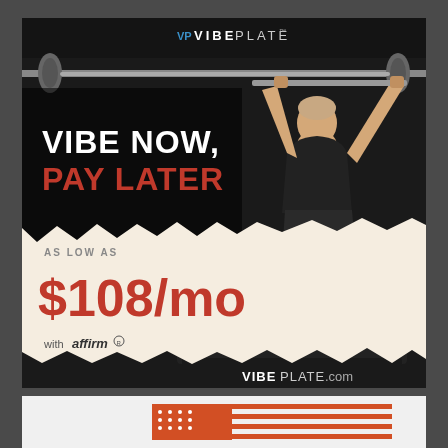[Figure (photo): VibePlate advertisement showing a man doing a squat with a barbell on a dark background, with 'Vibe Now, Pay Later' headline, price of $108/mo with Affirm, and VibePlate logo and website URL]
[Figure (illustration): Partial bottom panel showing an American flag graphic in red/orange colors]